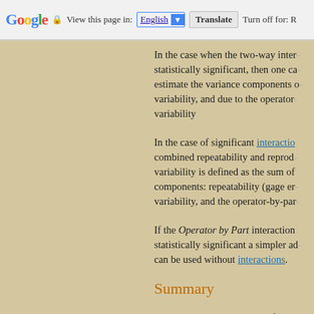Google | View this page in: English [▼] | Translate | Turn off for: R
In the case when the two-way inter- statistically significant, then one ca- estimate the variance components o- variability, and due to the operator- variability
In the case of significant interaction combined repeatability and reprod- variability is defined as the sum of components: repeatability (gage er- variability, and the operator-by-par-
If the Operator by Part interaction statistically significant a simpler add- can be used without interactions.
Summary
To summarize, the purpose of the r and reproducibility procedures is to quality control engineer to assess t- the measurement system (gages) us-